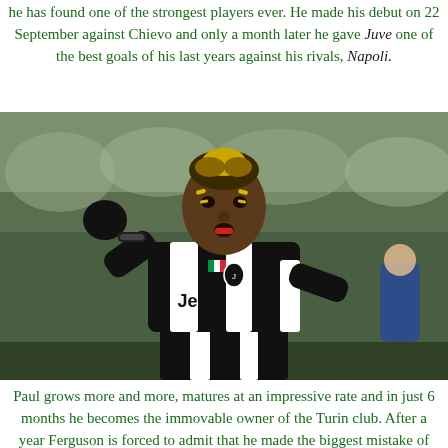he has found one of the strongest players ever. He made his debut on 22 September against Chievo and only a month later he gave Juve one of the best goals of his last years against his rivals, Napoli.
[Figure (photo): Paul Pogba in Juventus black and white striped Jeep jersey, celebrating with hand raised to face, crowd in blurred background]
Paul grows more and more, matures at an impressive rate and in just 6 months he becomes the immovable owner of the Turin club. After a year Ferguson is forced to admit that he made the biggest mistake of his life to let him go. It is already then that a dream that seems like a mirage makes its way